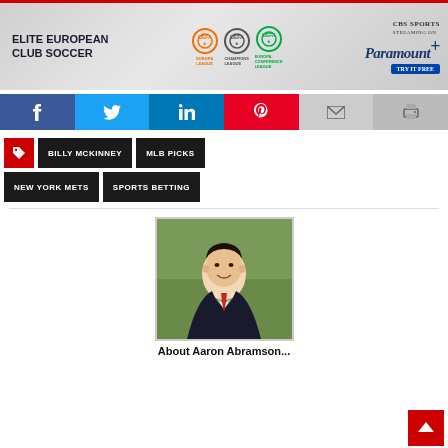[Figure (infographic): Elite European Club Soccer advertisement banner featuring Europa League, Champions League, Europa Conference League logos and CBS Sports Paramount+ streaming offer]
[Figure (infographic): Social media sharing buttons: Facebook (blue), Twitter (light blue), LinkedIn (dark blue), Pinterest (red), Email (gray), Print (gray)]
BILLY MCKINNEY
MLB PICKS
NEW YORK METS
SPORTS BETTING
[Figure (photo): Headshot photo of a young man in a dark suit with a red tie, smiling, with green foliage background]
About Aaron Abramson...